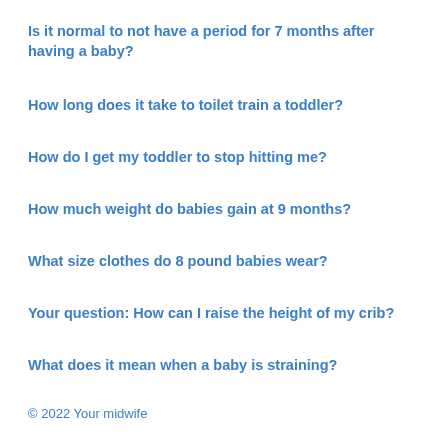Is it normal to not have a period for 7 months after having a baby?
How long does it take to toilet train a toddler?
How do I get my toddler to stop hitting me?
How much weight do babies gain at 9 months?
What size clothes do 8 pound babies wear?
Your question: How can I raise the height of my crib?
What does it mean when a baby is straining?
© 2022 Your midwife